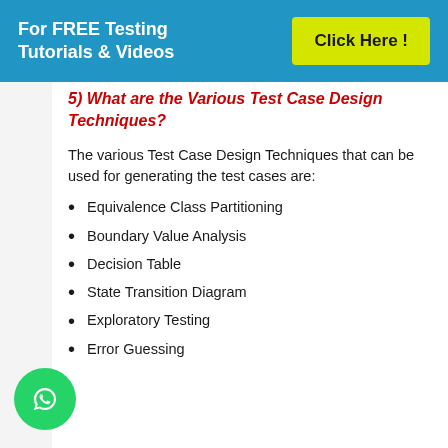For FREE Testing Tutorials & Videos  Click Here !
5) What are the Various Test Case Design Techniques?
The various Test Case Design Techniques that can be used for generating the test cases are:
Equivalence Class Partitioning
Boundary Value Analysis
Decision Table
State Transition Diagram
Exploratory Testing
Error Guessing